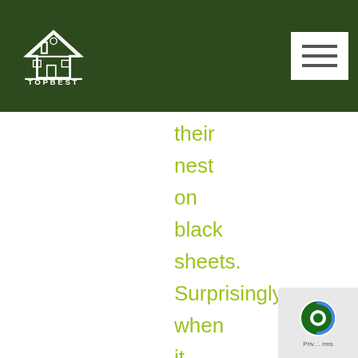TOPBEST logo and navigation
their
nest
on
black
sheets.
Surprisingly,
when
it
came
to
other
colors,
they
[Figure (logo): reCAPTCHA badge with circular green icon]